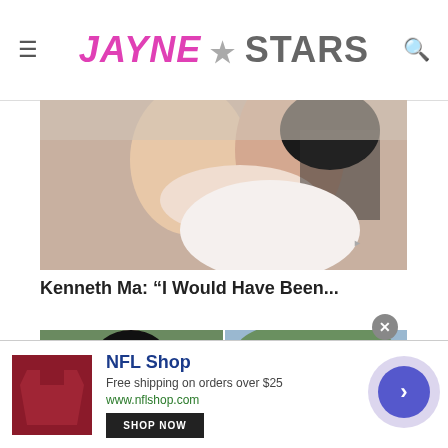Jayne Stars
[Figure (photo): Couple embracing closely, romantic scene, woman with dark hair wearing white knit sweater wrapping arms around man's neck]
Kenneth Ma: “I Would Have Been...
[Figure (photo): Two side-by-side photos: left shows young Asian man in period costume with crown; right shows two older Asian men in modern setting]
[Figure (photo): NFL Shop advertisement banner: logo, text 'NFL Shop', 'Free shipping on orders over $25', 'www.nflshop.com', 'SHOP NOW' button]